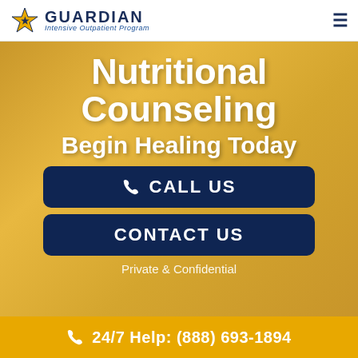GUARDIAN Intensive Outpatient Program
Nutritional Counseling
Begin Healing Today
CALL US
CONTACT US
Private & Confidential
24/7 Help: (888) 693-1894